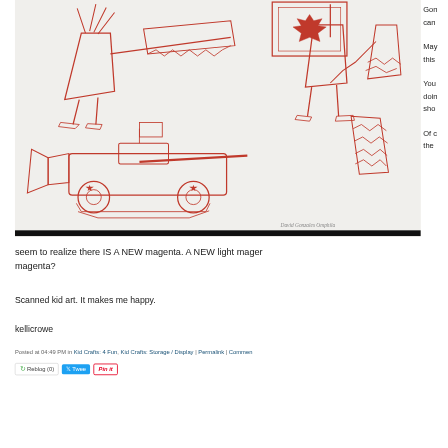[Figure (illustration): Child's red line drawing on light background showing a figure holding a Canadian flag, another figure, and a wheeled vehicle/tank-like object. Signed at bottom 'David Gonzales Omphila'.]
Gon can May this You doin sho Of c the
seem to realize there IS A NEW magenta. A NEW light magenta. magenta?
Scanned kid art. It makes me happy.
kellicrowe
Posted at 04:49 PM in Kid Crafts: 4 Fun, Kid Crafts: Storage / Display | Permalink | Comments
Reblog (0)  Tweet  Pin it